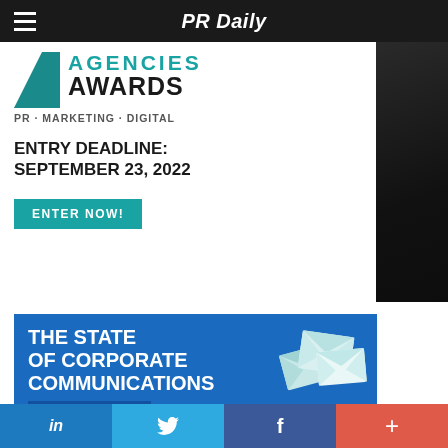PR Daily
[Figure (advertisement): Agencies Awards banner ad: teal triangle logo, AGENCIES AWARDS, PR · MARKETING · DIGITAL, ENTRY DEADLINE: SEPTEMBER 23, 2022, ENTER NOW! button, dark decorative right panel]
[Figure (advertisement): Blue banner ad: THE STATE OF CORPORATE COMMUNICATIONS SURVEY 2022, with floating envelope icons]
in  Twitter bird  f  +